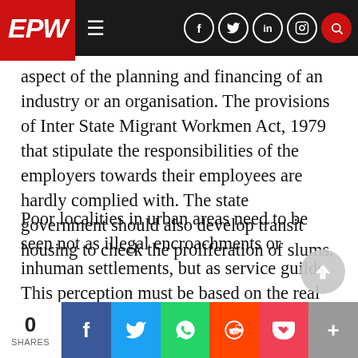EPW
aspect of the planning and financing of an industry or an organisation. The provisions of Inter State Migrant Workmen Act, 1979 that stipulate the responsibilities of the employers towards their employees are hardly complied with. The state government should also develop transit housing to check the proliferation of slums.
Poor localities in urban areas need to be seen not as illegal encroachments or inhuman settlements, but as service guilds. This perception must be based on the real valuable contribution of the poor dwellers, without appropriate, just remunerat… Unhygienic conditions, a major criterion to de…
0 SHARES | Facebook | Twitter | WhatsApp | Reddit | Pocket | More